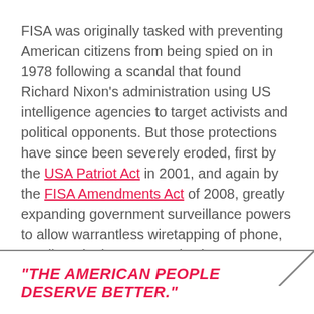FISA was originally tasked with preventing American citizens from being spied on in 1978 following a scandal that found Richard Nixon's administration using US intelligence agencies to target activists and political opponents. But those protections have since been severely eroded, first by the USA Patriot Act in 2001, and again by the FISA Amendments Act of 2008, greatly expanding government surveillance powers to allow warrantless wiretapping of phone, email, and other communications.
"THE AMERICAN PEOPLE DESERVE BETTER."